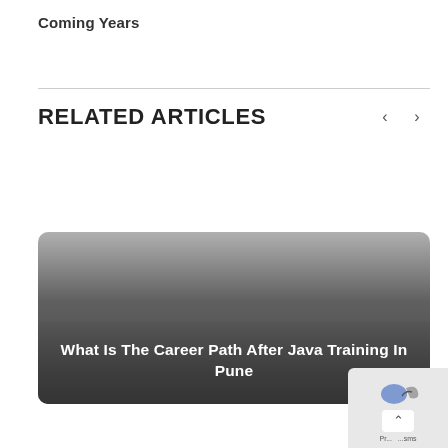Coming Years
RELATED ARTICLES
[Figure (photo): Article card with gradient overlay showing title 'What Is The Career Path After Java Training In Pune']
What Is The Career Path After Java Training In Pune